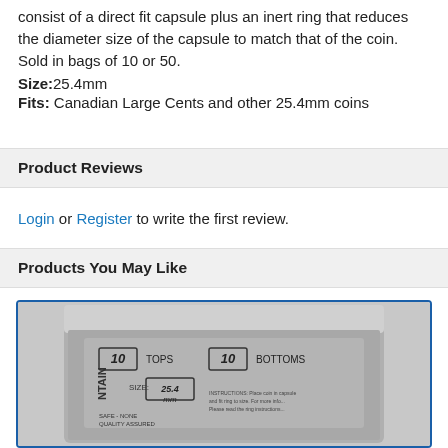consist of a direct fit capsule plus an inert ring that reduces the diameter size of the capsule to match that of the coin. Sold in bags of 10 or 50.
Size: 25.4mm
Fits: Canadian Large Cents and other 25.4mm coins
Product Reviews
Login or Register to write the first review.
Products You May Like
[Figure (photo): A plastic resealable bag containing coin capsules, labeled with '10 TOPS' and '10 BOTTOMS', size 25.4mm, brand NTAIN (Intercept Shield or similar).]